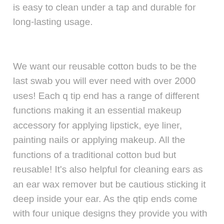is easy to clean under a tap and durable for long-lasting usage.
We want our reusable cotton buds to be the last swab you will ever need with over 2000 uses! Each q tip end has a range of different functions making it an essential makeup accessory for applying lipstick, eye liner, painting nails or applying makeup. All the functions of a traditional cotton bud but reusable! It's also helpful for cleaning ears as an ear wax remover but be cautious sticking it deep inside your ear. As the qtip ends come with four unique designs they provide you with a precision cleaning tool for getting into small areas around the end of sinks, bathtubs and keyboards. When you have finished using the reusable cotton buds simply store in the cool magnetic bamboo case. Each set comes in a recycled cardboard gift box and is completely plastic-free. This makes our reusable cotton swabs an essential eco beauty gift for